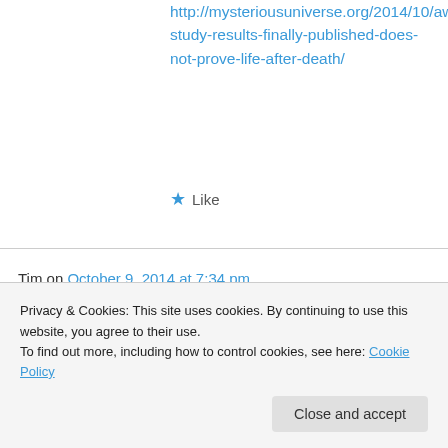http://mysteriousuniverse.org/2014/10/aware-study-results-finally-published-does-not-prove-life-after-death/
★ Like
Tim on October 9, 2014 at 7:34 pm
Also, in regards the timing of the consciousness… that is the issue in question. You take the reporting of the sound as clear evidence that the memories were generated at
Privacy & Cookies: This site uses cookies. By continuing to use this website, you agree to their use.
To find out more, including how to control cookies, see here: Cookie Policy
Close and accept
Well I don't see any reason not to. It's too big a